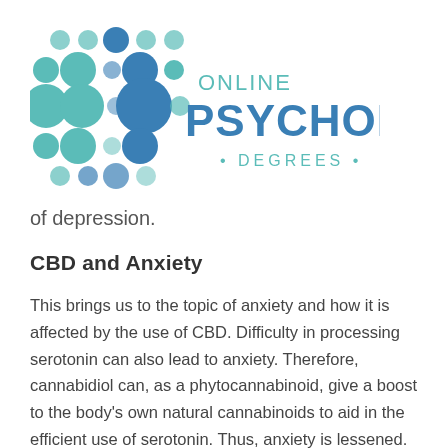[Figure (logo): Online Psychology Degrees logo with teal dot grid pattern and text]
of depression.
CBD and Anxiety
This brings us to the topic of anxiety and how it is affected by the use of CBD. Difficulty in processing serotonin can also lead to anxiety. Therefore, cannabidiol can, as a phytocannabinoid, give a boost to the body's own natural cannabinoids to aid in the efficient use of serotonin. Thus, anxiety is lessened. CBD can make a difference in alleviating symptoms of various types of anxiety. Generalized anxiety disorder, and beyond to other anxiety types that are well-known